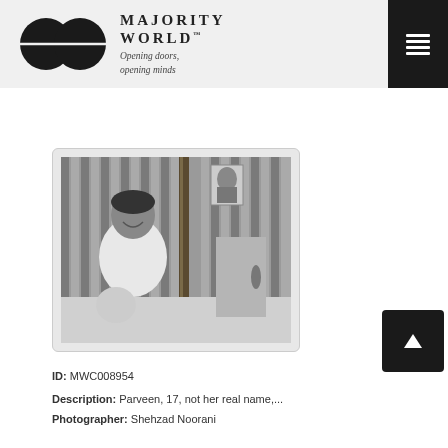MAJORITY WORLD™ — Opening doors, opening minds
[Figure (photo): Black and white photograph of a young man smiling, seated in front of a corrugated metal fence/wall with bamboo poles. A poster/image of a person is visible on the wall behind him. Another figure appears in the lower right background.]
ID: MWC008954
Description: Parveen, 17, not her real name,...
Photographer: Shehzad Noorani